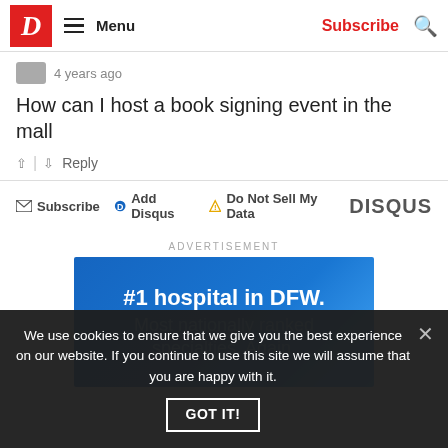D | Menu | Subscribe | Search
4 years ago
How can I host a book signing event in the mall
↑ | ↓  Reply
✉ Subscribe  ● Add Disqus  ⚠ Do Not Sell My Data    DISQUS
ADVERTISEMENT
[Figure (other): Blue gradient advertisement banner reading '#1 hospital in DFW. Most nationally ranked specialties. Again.']
We use cookies to ensure that we give you the best experience on our website. If you continue to use this site we will assume that you are happy with it.
GOT IT!